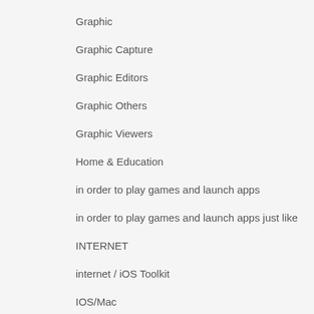Graphic
Graphic Capture
Graphic Editors
Graphic Others
Graphic Viewers
Home & Education
in order to play games and launch apps
in order to play games and launch apps just like
INTERNET
internet / iOS Toolkit
IOS/Mac